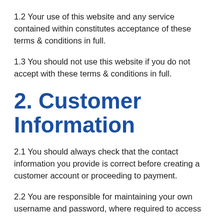1.2 Your use of this website and any service contained within constitutes acceptance of these terms & conditions in full.
1.3 You should not use this website if you do not accept with these terms & conditions in full.
2. Customer Information
2.1 You should always check that the contact information you provide is correct before creating a customer account or proceeding to payment.
2.2 You are responsible for maintaining your own username and password, where required to access